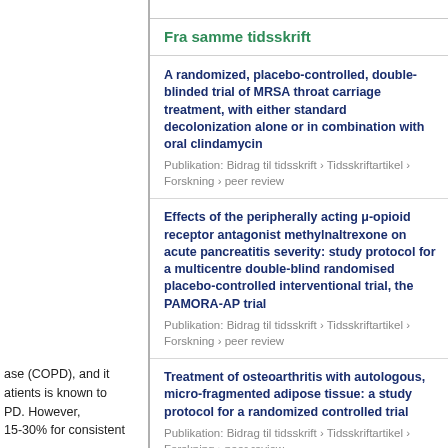Fra samme tidsskrift
A randomized, placebo-controlled, double-blinded trial of MRSA throat carriage treatment, with either standard decolonization alone or in combination with oral clindamycin
Publikation: Bidrag til tidsskrift › Tidsskriftartikel › Forskning › peer review
Effects of the peripherally acting μ-opioid receptor antagonist methylnaltrexone on acute pancreatitis severity: study protocol for a multicentre double-blind randomised placebo-controlled interventional trial, the PAMORA-AP trial
Publikation: Bidrag til tidsskrift › Tidsskriftartikel › Forskning › peer review
Treatment of osteoarthritis with autologous, micro-fragmented adipose tissue: a study protocol for a randomized controlled trial
Publikation: Bidrag til tidsskrift › Tidsskriftartikel › Forskning › peer review
Optimization of Nutrition And Medication (OptiNAM) for acutely admitted older patients: protocol for a randomized single-blinded controlled trial
Publikation: Bidrag til tidsskrift › Tidsskriftartikel › Forskning › peer review
ase (COPD), and it atients is known to PD. However, 15-30% for consistent